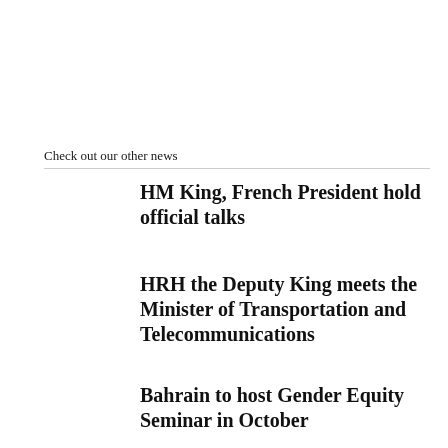Check out our other news
HM King, French President hold official talks
HRH the Deputy King meets the Minister of Transportation and Telecommunications
Bahrain to host Gender Equity Seminar in October